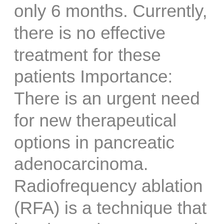only 6 months. Currently, there is no effective treatment for these patients Importance: There is an urgent need for new therapeutical options in pancreatic adenocarcinoma. Radiofrequency ablation (RFA) is a technique that has been demonstrated to be effective in the treatment of several irresectable tumours such as liver and lung neoplasms. RFA produces local tumour destruction from an electrode implanted directly into the tumour causing frictional heating.